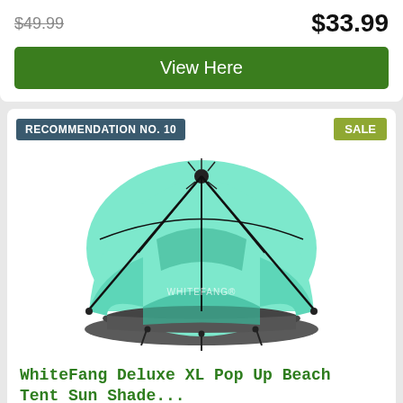$49.99 (strikethrough)  $33.99
View Here
RECOMMENDATION NO. 10
SALE
[Figure (photo): WhiteFang Deluxe XL Pop Up Beach Tent in teal/mint color, dome shaped with open front and dark gray floor mat, black poles and stakes visible]
WhiteFang Deluxe XL Pop Up Beach Tent Sun Shade...
Prime